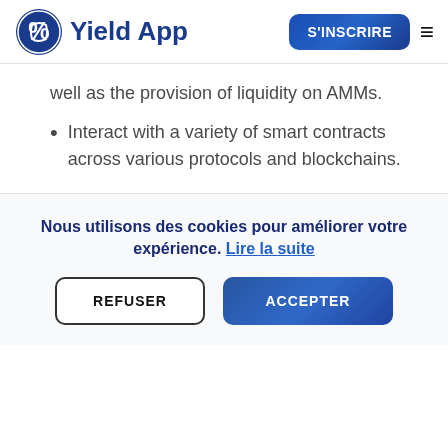Yield App — S'INSCRIRE
well as the provision of liquidity on AMMs.
Interact with a variety of smart contracts across various protocols and blockchains.
Nous utilisons des cookies pour améliorer votre expérience. Lire la suite
REFUSER
ACCEPTER